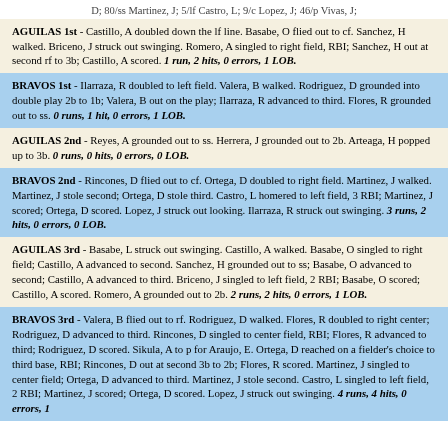D; 80/ss Martinez, J; 5/lf Castro, L; 9/c Lopez, J; 46/p Vivas, J;
AGUILAS 1st - Castillo, A doubled down the lf line. Basabe, O flied out to cf. Sanchez, H walked. Briceno, J struck out swinging. Romero, A singled to right field, RBI; Sanchez, H out at second rf to 3b; Castillo, A scored. 1 run, 2 hits, 0 errors, 1 LOB.
BRAVOS 1st - Ilarraza, R doubled to left field. Valera, B walked. Rodriguez, D grounded into double play 2b to 1b; Valera, B out on the play; Ilarraza, R advanced to third. Flores, R grounded out to ss. 0 runs, 1 hit, 0 errors, 1 LOB.
AGUILAS 2nd - Reyes, A grounded out to ss. Herrera, J grounded out to 2b. Arteaga, H popped up to 3b. 0 runs, 0 hits, 0 errors, 0 LOB.
BRAVOS 2nd - Rincones, D flied out to cf. Ortega, D doubled to right field. Martinez, J walked. Martinez, J stole second; Ortega, D stole third. Castro, L homered to left field, 3 RBI; Martinez, J scored; Ortega, D scored. Lopez, J struck out looking. Ilarraza, R struck out swinging. 3 runs, 2 hits, 0 errors, 0 LOB.
AGUILAS 3rd - Basabe, L struck out swinging. Castillo, A walked. Basabe, O singled to right field; Castillo, A advanced to second. Sanchez, H grounded out to ss; Basabe, O advanced to second; Castillo, A advanced to third. Briceno, J singled to left field, 2 RBI; Basabe, O scored; Castillo, A scored. Romero, A grounded out to 2b. 2 runs, 2 hits, 0 errors, 1 LOB.
BRAVOS 3rd - Valera, B flied out to rf. Rodriguez, D walked. Flores, R doubled to right center; Rodriguez, D advanced to third. Rincones, D singled to center field, RBI; Flores, R advanced to third; Rodriguez, D scored. Sikula, A to p for Araujo, E. Ortega, D reached on a fielder's choice to third base, RBI; Rincones, D out at second 3b to 2b; Flores, R scored. Martinez, J singled to center field; Ortega, D advanced to third. Martinez, J stole second. Castro, L singled to left field, 2 RBI; Martinez, J scored; Ortega, D scored. Lopez, J struck out swinging. 4 runs, 4 hits, 0 errors, 1